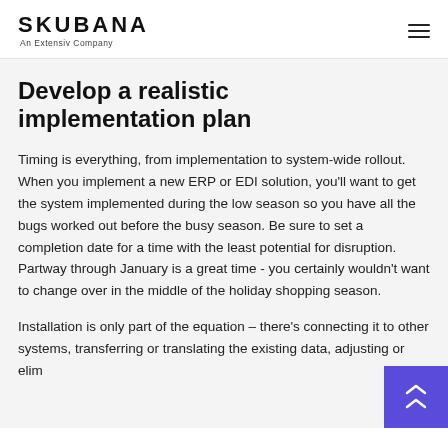SKUBANA — An Extensiv Company
Develop a realistic implementation plan
Timing is everything, from implementation to system-wide rollout. When you implement a new ERP or EDI solution, you'll want to get the system implemented during the low season so you have all the bugs worked out before the busy season. Be sure to set a completion date for a time with the least potential for disruption. Partway through January is a great time - you certainly wouldn't want to change over in the middle of the holiday shopping season.
Installation is only part of the equation – there's connecting it to other systems, transferring or translating the existing data, adjusting or elim...